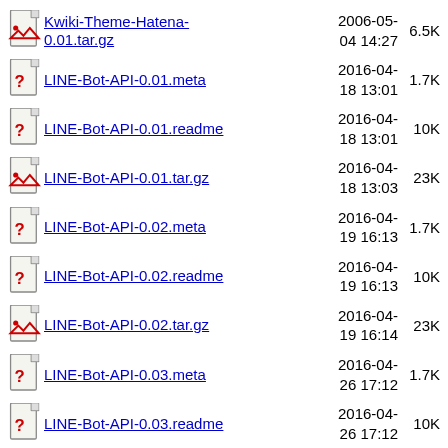Kwiki-Theme-Hatena-0.01.tar.gz  2006-05-04 14:27  6.5K
LINE-Bot-API-0.01.meta  2016-04-18 13:01  1.7K
LINE-Bot-API-0.01.readme  2016-04-18 13:01  10K
LINE-Bot-API-0.01.tar.gz  2016-04-18 13:03  23K
LINE-Bot-API-0.02.meta  2016-04-19 16:13  1.7K
LINE-Bot-API-0.02.readme  2016-04-19 16:13  10K
LINE-Bot-API-0.02.tar.gz  2016-04-19 16:14  23K
LINE-Bot-API-0.03.meta  2016-04-26 17:12  1.7K
LINE-Bot-API-0.03.readme  2016-04-26 17:12  10K
LINE-Bot-API-0.03.tar.gz  2016-04-26 17:12  24K
LINE-Bot-API-0.04.meta  2016-07-02 17:09  1.7K
LINE-Bot-API-0.04.? (partial)  2016-07-...